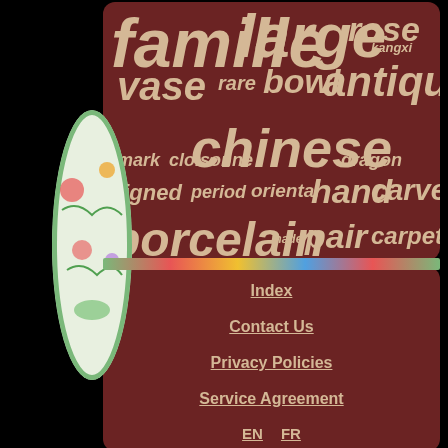[Figure (infographic): Word cloud on dark brown background with antique/Chinese collectibles terms: famille, large, rose, kangxi, vase, rare, bowl, antique, chinese, mark, cloisonne, dragon, signed, period, oriental, hand, carved, porcelain, made, pair, carpet]
[Figure (photo): Partial view of a colorful famille rose Chinese porcelain plate on the left side]
Index
Contact Us
Privacy Policies
Service Agreement
EN  FR
[Figure (infographic): Social media buttons: Facebook (blue), Twitter (blue), Pinterest (red), Email (blue)]